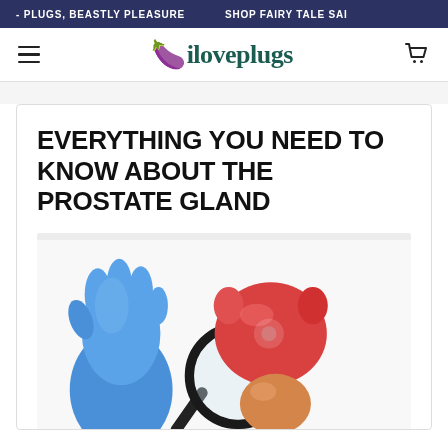PLUGS, BEASTLY PLEASURE   SHOP FAIRY TALE SAI
iloveplugs
EVERYTHING YOU NEED TO KNOW ABOUT THE PROSTATE GLAND
[Figure (photo): A gloved hand holding a magnifying glass over red and orange anatomical models representing the prostate gland, on a white background.]